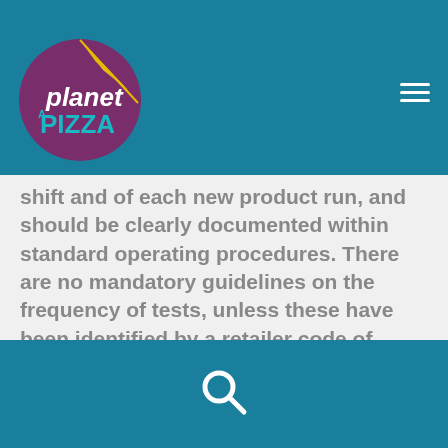[Figure (logo): Planet Pizza logo — circular purple badge with a pizza slice (yellow/gold) at top, white italic text 'planet' and teal bold text 'PIZZA' inside.]
shift and of each new product run, and should be clearly documented within standard operating procedures. There are no mandatory guidelines on the frequency of tests, unless these have been identified by a retailer code of practice or by requirements from a customer or external agency.
[Figure (other): Search (magnifying glass) icon in white on teal background in page footer.]